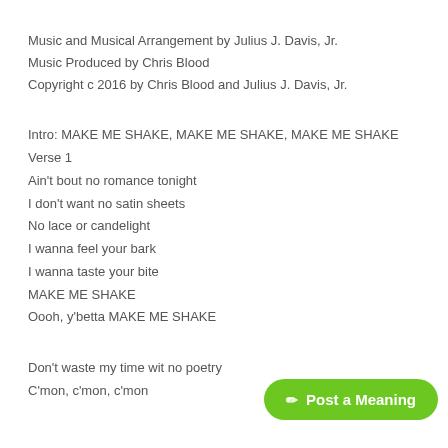Music and Musical Arrangement by Julius J. Davis, Jr.
Music Produced by Chris Blood
Copyright c 2016 by Chris Blood and Julius J. Davis, Jr.
Intro: MAKE ME SHAKE, MAKE ME SHAKE, MAKE ME SHAKE
Verse 1
Ain't bout no romance tonight
I don't want no satin sheets
No lace or candelight
I wanna feel your bark
I wanna taste your bite
MAKE ME SHAKE
Oooh, y'betta MAKE ME SHAKE
Don't waste my time wit no poetry
C'mon, c'mon, c'mon
[Figure (other): Green rounded button labeled 'Post a Meaning' with a pencil icon]